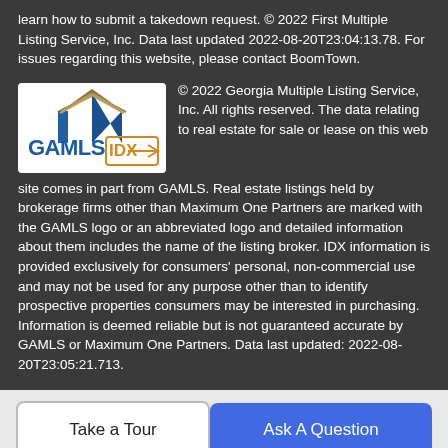learn how to submit a takedown request. © 2022 First Multiple Listing Service, Inc. Data last updated 2022-08-20T23:04:13.78. For issues regarding this website, please contact BoomTown.
[Figure (logo): GAMLS IDX logo — blue house roof icon, blue text GAMLS, orange IDX with arrow]
© 2022 Georgia Multiple Listing Service, Inc. All rights reserved. The data relating to real estate for sale or lease on this web site comes in part from GAMLS. Real estate listings held by brokerage firms other than Maximum One Partners are marked with the GAMLS logo or an abbreviated logo and detailed information about them includes the name of the listing broker. IDX information is provided exclusively for consumers' personal, non-commercial use and may not be used for any purpose other than to identify prospective properties consumers may be interested in purchasing. Information is deemed reliable but is not guaranteed accurate by GAMLS or Maximum One Partners. Data last updated: 2022-08-20T23:05:21.713.